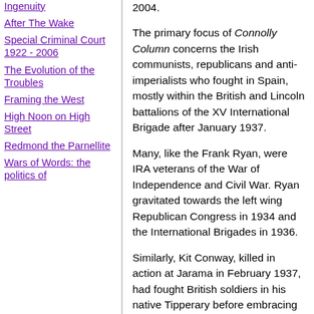Ingenuity
After The Wake
Special Criminal Court 1922 - 2006
The Evolution of the Troubles
Framing the West
High Noon on High Street
Redmond the Parnellite
Wars of Words: the politics of
2004.
The primary focus of Connolly Column concerns the Irish communists, republicans and anti-imperialists who fought in Spain, mostly within the British and Lincoln battalions of the XV International Brigade after January 1937.
Many, like the Frank Ryan, were IRA veterans of the War of Independence and Civil War. Ryan gravitated towards the left wing Republican Congress in 1934 and the International Brigades in 1936.
Similarly, Kit Conway, killed in action at Jarama in February 1937, had fought British soldiers in his native Tipperary before embracing several former enemies as comrades in Spain.
Amazingly, Major George Nathan, suspected of involvement in the murder of two leading Limerick Sinn Fein members in March 1921, was eventually accepted as a bona fide volunteer after an enquiry at Madrigueras.